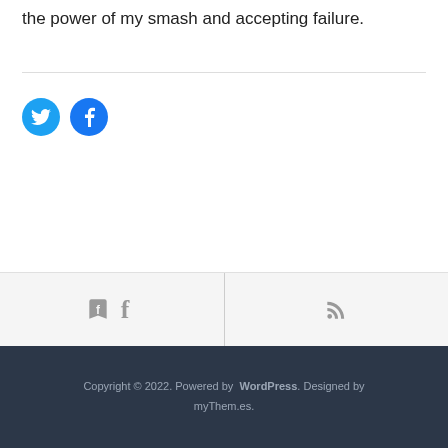the power of my smash and accepting failure.
[Figure (other): Social share icons: Twitter (light blue circle) and Facebook (dark blue circle)]
[Figure (other): Footer navigation bar with Facebook icon on left and RSS icon on right]
Copyright © 2022. Powered by WordPress. Designed by myThem.es.